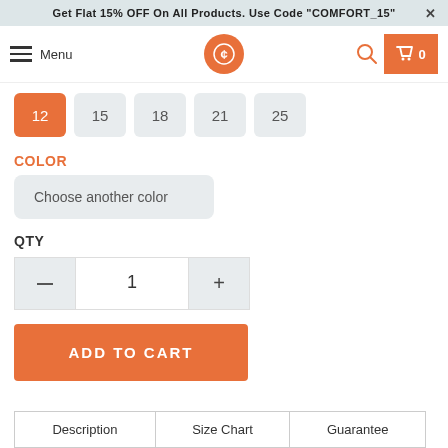Get Flat 15% OFF On All Products. Use Code "COMFORT_15" ✕
[Figure (screenshot): Navigation bar with hamburger menu, Menu text, orange circular logo with currency symbol, search icon, and orange cart button showing 0 items]
12 (active/selected), 15, 18, 21, 25
COLOR
Choose another color
QTY
1
ADD TO CART
Description | Size Chart | Guarantee
Why Us